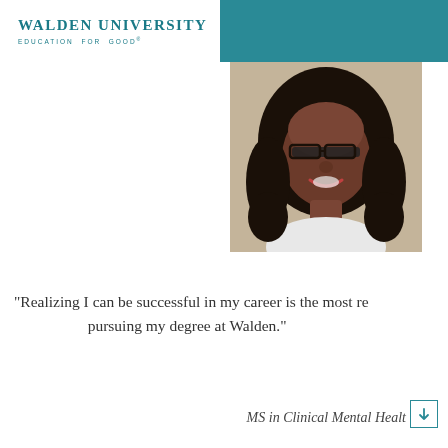[Figure (logo): Walden University logo with text 'WALDEN UNIVERSITY' and tagline 'EDUCATION FOR GOOD']
[Figure (photo): Portrait photo of a smiling woman with glasses and curly black hair wearing a white top]
“Realizing I can be successful in my career is the most re pursuing my degree at Walden.”
MS in Clinical Mental Healt